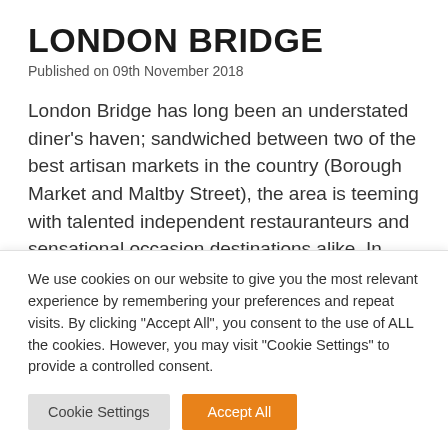LONDON BRIDGE
Published on 09th November 2018
London Bridge has long been an understated diner's haven; sandwiched between two of the best artisan markets in the country (Borough Market and Maltby Street), the area is teeming with talented independent restauranteurs and sensational occasion destinations alike. In 2017 At London Bridge published our original ‘Guide to New Restaurants’, featuring the likes of The Ivy…
We use cookies on our website to give you the most relevant experience by remembering your preferences and repeat visits. By clicking "Accept All", you consent to the use of ALL the cookies. However, you may visit "Cookie Settings" to provide a controlled consent.